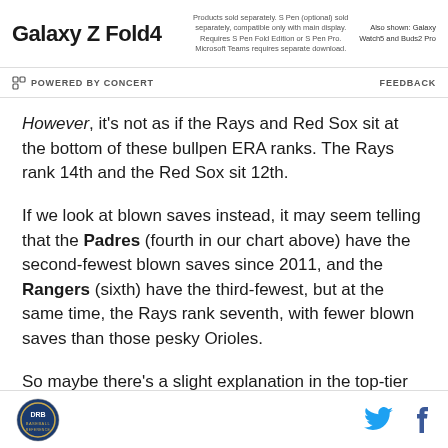[Figure (other): Samsung Galaxy Z Fold4 advertisement banner with product name and fine print]
POWERED BY CONCERT   FEEDBACK
However, it's not as if the Rays and Red Sox sit at the bottom of these bullpen ERA ranks. The Rays rank 14th and the Red Sox sit 12th.
If we look at blown saves instead, it may seem telling that the Padres (fourth in our chart above) have the second-fewest blown saves since 2011, and the Rangers (sixth) have the third-fewest, but at the same time, the Rays rank seventh, with fewer blown saves than those pesky Orioles.
So maybe there's a slight explanation in the top-tier
DRB logo | Twitter icon | Facebook icon